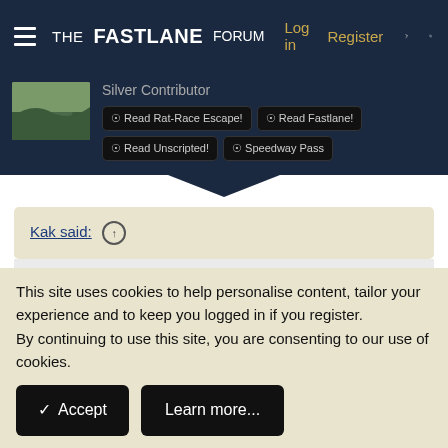THE FASTLANE FORUM  Log in  Register
Silver Contributor
Read Rat-Race Escape!  Read Fastlane!  Read Unscripted!  Speedway Pass
Kak said:
View attachment 43919
I'd love to hear more about the whole "measured properly"
This site uses cookies to help personalise content, tailor your experience and to keep you logged in if you register.
By continuing to use this site, you are consenting to our use of cookies.
✓ Accept   Learn more...